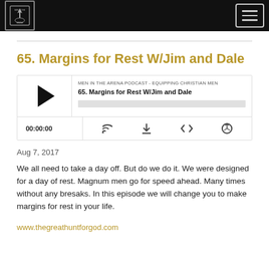Men in the Arena Podcast
65. Margins for Rest W/Jim and Dale
[Figure (screenshot): Podcast audio player widget showing episode '65. Margins for Rest W/Jim and Dale' from MEN IN THE ARENA PODCAST - EQUIPPING CHRISTIAN MEN. Player shows play button, progress bar, timestamp 00:00:00, and controls for cast, download, embed, and share.]
Aug 7, 2017
We all need to take a day off. But do we do it. We were designed for a day of rest. Magnum men go for speed ahead. Many times without any bresaks. In this episode we will change you to make margins for rest in your life.
www.thegreathuntforgod.com